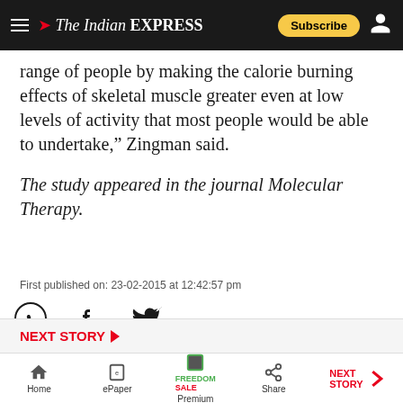The Indian EXPRESS
range of people by making the calorie burning effects of skeletal muscle greater even at low levels of activity that most people would be able to undertake,” Zingman said.
The study appeared in the journal Molecular Therapy.
First published on: 23-02-2015 at 12:42:57 pm
NEXT STORY | Home | ePaper | Premium | Share | NEXT STORY